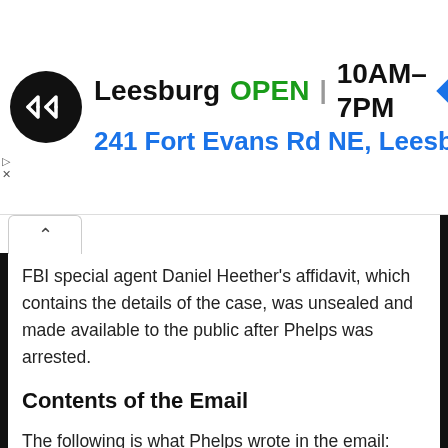[Figure (screenshot): Google Maps ad banner showing a store in Leesburg, OPEN 10AM-7PM, address 241 Fort Evans Rd NE, Leesburg]
FBI special agent Daniel Heether's affidavit, which contains the details of the case, was unsealed and made available to the public after Phelps was arrested.
Contents of the Email
The following is what Phelps wrote in the email: “You little cocksucker I want to come and see you so I can spit in your face and I want to kill you with my bare hands and smash your sick little round fat lying face in. You had better hope I never meet up with you mother fucker.” – Robert M. Phelps Republican.”